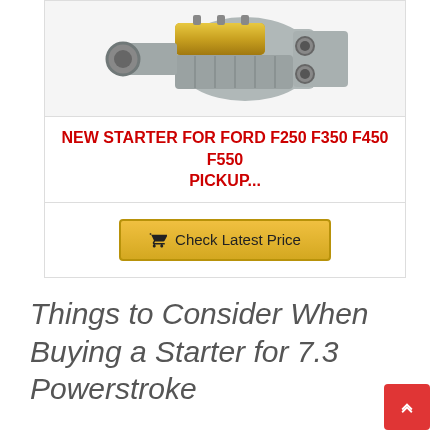[Figure (photo): Photo of a new starter motor component — metallic silver and gold colored automotive starter]
NEW STARTER FOR FORD F250 F350 F450 F550 PICKUP...
Check Latest Price
Things to Consider When Buying a Starter for 7.3 Powerstroke